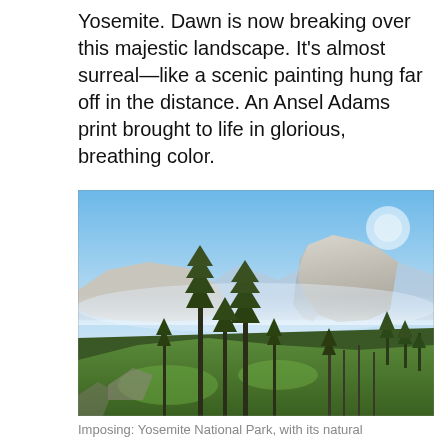Yosemite. Dawn is now breaking over this majestic landscape. It's almost surreal—like a scenic painting hung far off in the distance. An Ansel Adams print brought to life in glorious, breathing color.
[Figure (photo): Landscape photograph of Yosemite National Park at dawn, showing Half Dome in the background, tall conifer trees in the foreground on a green hillside, with mist and blue sky.]
Imposing: Yosemite National Park, with its natural